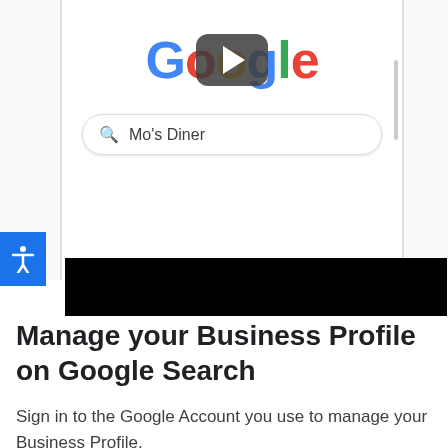[Figure (screenshot): Screenshot of a smartphone showing Google Search homepage with 'Mo's Diner' typed in the search bar, overlaid with a video play button icon on the Google logo. A black video control bar appears at the bottom of the screenshot.]
Manage your Business Profile on Google Search
Sign in to the Google Account you use to manage your Business Profile.
To find your Business Profile, search on